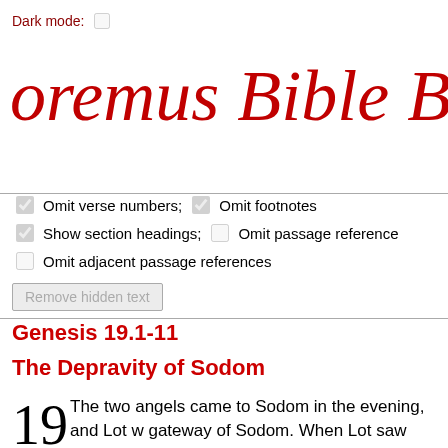Dark mode: ☐
oremus Bible Brow
☑ Omit verse numbers;  ☑ Omit footnotes
☑ Show section headings;  ☐ Omit passage reference
☐ Omit adjacent passage references
Remove hidden text
Genesis 19.1-11
The Depravity of Sodom
19 The two angels came to Sodom in the evening, and Lot was sitting at the gateway of Sodom. When Lot saw them, he rose to meet them, and bowed down with his face to the ground. 2He said, 'Please, my lords, turn aside to your servant's house and spend the night, and wash your feet; then you can rise early and go on your way.' They said, 'No; we will spend the night in